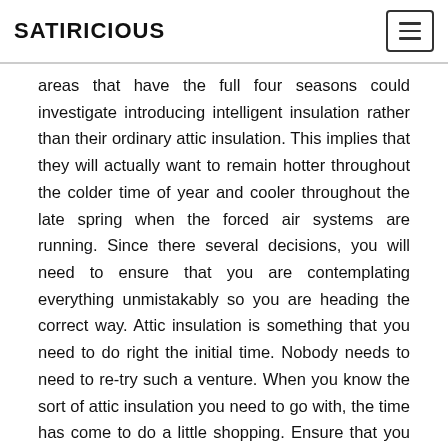SATIRICIOUS
areas that have the full four seasons could investigate introducing intelligent insulation rather than their ordinary attic insulation. This implies that they will actually want to remain hotter throughout the colder time of year and cooler throughout the late spring when the forced air systems are running. Since there several decisions, you will need to ensure that you are contemplating everything unmistakably so you are heading the correct way. Attic insulation is something that you need to do right the initial time. Nobody needs to need to re-try such a venture. When you know the sort of attic insulation you need to go with, the time has come to do a little shopping. Ensure that you are keeping your eyes and ears open